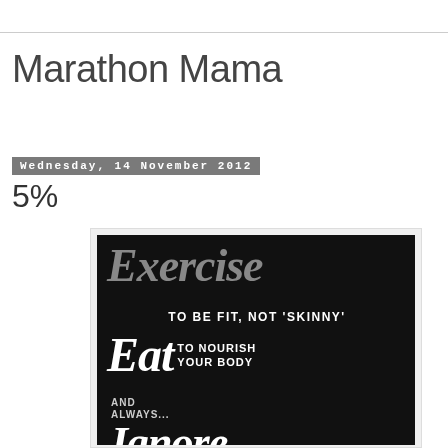Marathon Mama
Wednesday, 14 November 2012
5%
[Figure (illustration): Motivational fitness poster on black background with styled text reading: 'Exercise TO BE FIT, NOT SKINNY Eat TO NOURISH YOUR BODY AND ALWAYS... Ignore' in mixed script and sans-serif fonts in white and grey colors.]